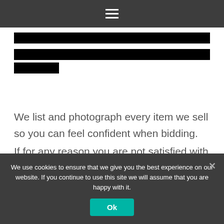Navigation menu (hamburger icon)
[Figure (other): Redacted/blacked-out text blocks representing censored content — three horizontal black bars of varying widths]
We list and photograph every item we sell so you can feel confident when bidding.
If for any reason you are not satisfied with your
We use cookies to ensure that we give you the best experience on our website. If you continue to use this site we will assume that you are happy with it.
Ok